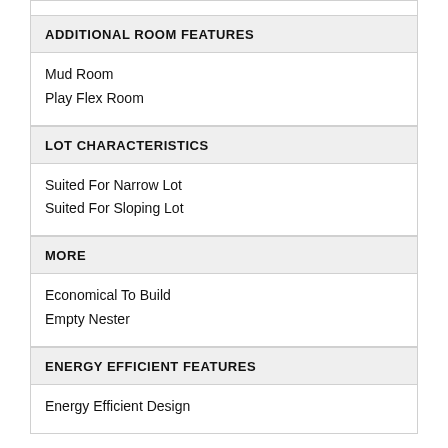ADDITIONAL ROOM FEATURES
Mud Room
Play Flex Room
LOT CHARACTERISTICS
Suited For Narrow Lot
Suited For Sloping Lot
MORE
Economical To Build
Empty Nester
ENERGY EFFICIENT FEATURES
Energy Efficient Design